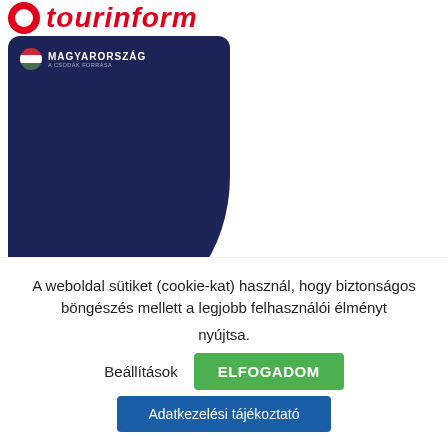[Figure (logo): Tourinform logo — red circle with white inner circle and red italic 'tourinform' text]
[Figure (logo): Magyarország (Hungary) tourism brand logo — circular Hungarian flag and 'MAGYARORSZÁG A CSODÁK FORRÁSA' text on dark navy speech bubble card]
KÖSZÖNJÜK MAGYARORSZÁG KORMÁNYA TÁMOGATÁSÁT
HORTOBÁGYI TERMÉSZETVÉDELMI ÉS GÉMNIGŐRZŐ NONPROFIT KFT.
TOURINFORM HORTOBÁGY DIGITÁLIS ESZKÖZ ÉS SZOLGÁLTATÁSFEJLESZTÉSE
A TÁMOGATÁS ÖSSZEGE:
A weboldal sütiket (cookie-kat) használ, hogy biztonságos böngészés mellett a legjobb felhasználói élményt nyújtsa.
Beállítások
ELFOGADOM
Adatkezelési tájékoztató